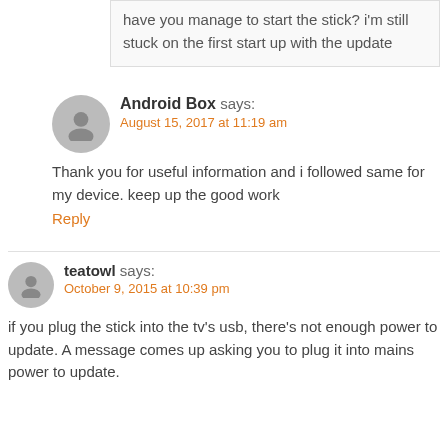have you manage to start the stick? I'm still stuck on the first start up with the update
Android Box says: August 15, 2017 at 11:19 am
Thank you for useful information and i followed same for my device. keep up the good work
Reply
teatowl says: October 9, 2015 at 10:39 pm
if you plug the stick into the tv's usb, there's not enough power to update. A message comes up asking you to plug it into mains power to update.